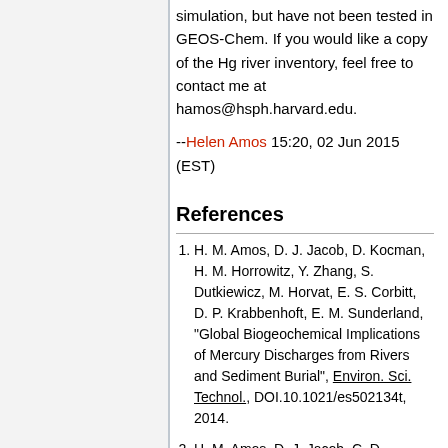simulation, but have not been tested in GEOS-Chem. If you would like a copy of the Hg river inventory, feel free to contact me at hamos@hsph.harvard.edu.
--Helen Amos 15:20, 02 Jun 2015 (EST)
References
H. M. Amos, D. J. Jacob, D. Kocman, H. M. Horrowitz, Y. Zhang, S. Dutkiewicz, M. Horvat, E. S. Corbitt, D. P. Krabbenhoft, E. M. Sunderland, "Global Biogeochemical Implications of Mercury Discharges from Rivers and Sediment Burial", Environ. Sci. Technol., DOI.10.1021/es502134t, 2014.
H. M. Amos, D. J. Jacob, C. D. Holmes, J. A. Fisher, Q. Wang, R. M. Yantosca, E. S. Corbitt, E.